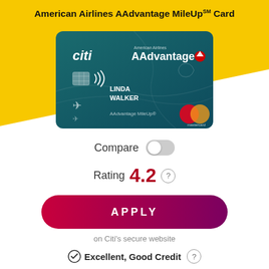American Airlines AAdvantage MileUp℠ Card
[Figure (photo): Citi AAdvantage MileUp credit card — teal colored card with Citi and American Airlines AAdvantage branding, chip, contactless symbol, and cardholder name LINDA WALKER, with Mastercard logo]
Compare
Rating 4.2
APPLY
on Citi's secure website
Excellent, Good Credit
Intro APR on Purchases